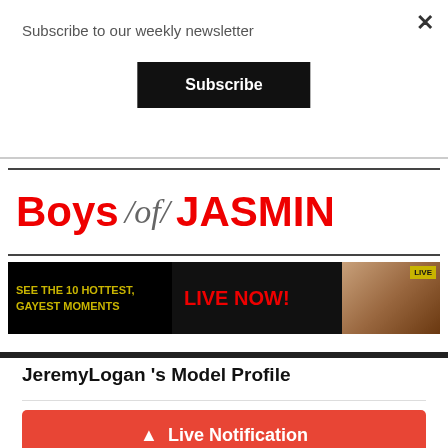Subscribe to our weekly newsletter
Subscribe
[Figure (illustration): Boys of Jasmin advertisement banner with red bold text 'Boys / of / JASMIN' and sub-banner reading 'SEE THE 10 HOTTEST, GAYEST MOMENTS' and 'LIVE NOW!' with a model photo and LIVE badge]
JeremyLogan 's Model Profile
Live Notification